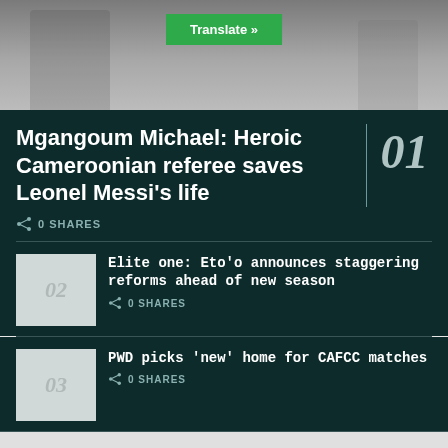[Figure (photo): Top portion of a person in a light grey suit with a tie, photo cropped at shoulder level. A green 'Translate »' button overlaid at top center.]
Mgangoum Michael: Heroic Cameroonian referee saves Leonel Messi's life
0 SHARES
Elite one: Eto'o announces staggering reforms ahead of new season
0 SHARES
PWD picks 'new' home for CAFCC matches
0 SHARES
ADVERTISEMENT